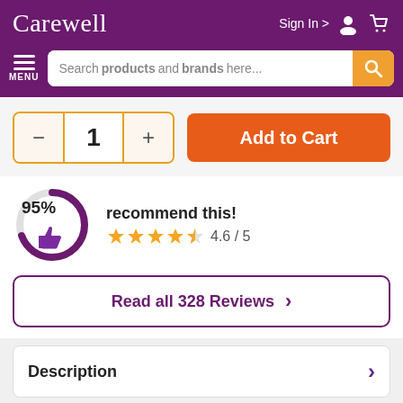Carewell
Sign In >
Search products and brands here...
MENU
- 1 + Add to Cart
[Figure (infographic): Circular progress ring showing 95% with a thumbs up icon inside, indicating 95% recommend this product]
recommend this!
4.6 / 5
Read all 328 Reviews >
Description